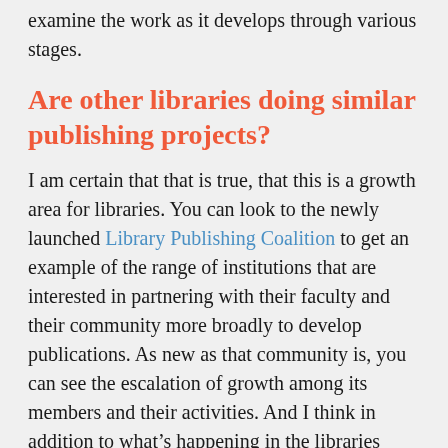examine the work as it develops through various stages.
Are other libraries doing similar publishing projects?
I am certain that that is true, that this is a growth area for libraries. You can look to the newly launched Library Publishing Coalition to get an example of the range of institutions that are interested in partnering with their faculty and their community more broadly to develop publications. As new as that community is, you can see the escalation of growth among its members and their activities. And I think in addition to what’s happening in the libraries with their own publishing